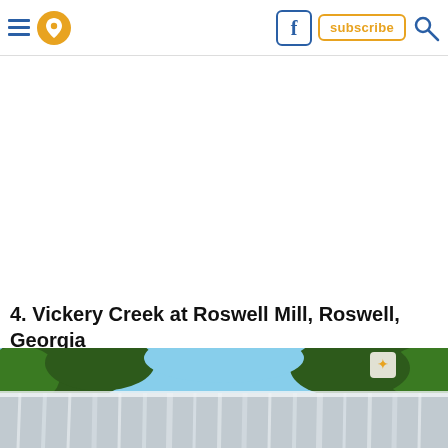Navigation header with menu, location icon, Facebook icon, subscribe button, and search icon
4. Vickery Creek at Roswell Mill, Roswell, Georgia
[Figure (photo): Photograph of Vickery Creek at Roswell Mill showing a wide waterfall with white rushing water in the foreground, and green tree canopy against a blue sky in the background. A small map location pin icon is visible in the upper right area of the image.]